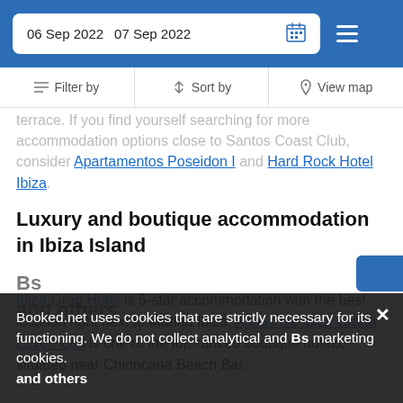06 Sep 2022   07 Sep 2022
terrace. If you find yourself searching for more accommodation options close to Santos Coast Club, consider Apartamentos Poseidon I and Hard Rock Hotel Ibiza.
Luxury and boutique accommodation in Ibiza Island
Ibiza Gran Hotel is 5-star accommodation with the best location right next to Marina Ibiza. Aguas De Ibiza Grand Luxe Hotel is one of the top-ranked boutique hotels, situated near Chirincana Beach Bar.
Booked.net uses cookies that are strictly necessary for its functioning. We do not collect analytical and marketing cookies.
and others